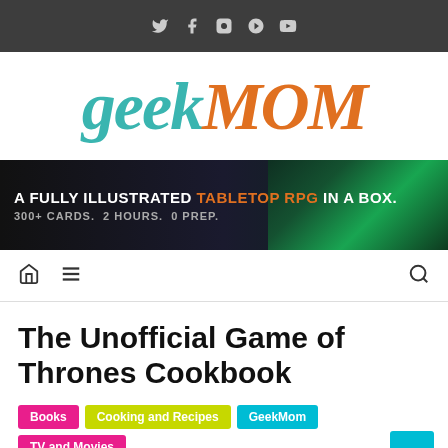Social media icons bar (Twitter, Facebook, Instagram, Pinterest, YouTube)
[Figure (logo): GeekMOM logo in teal and orange italic serif font]
[Figure (infographic): Advertisement banner: A FULLY ILLUSTRATED TABLETOP RPG IN A BOX. 300+ CARDS. 2 HOURS. 0 PREP. With dark fantasy creature illustration on right.]
Navigation bar with home icon, menu icon, and search icon
The Unofficial Game of Thrones Cookbook
Books
Cooking and Recipes
GeekMom
TV and Movies
March 28, 2012   Nicole Wakelin